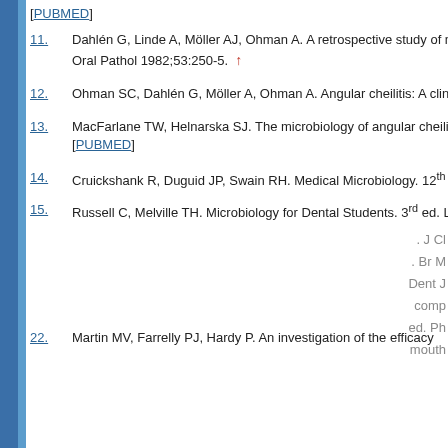[PUBMED]
11. Dahlén G, Linde A, Möller AJ, Ohman A. A retrospective study of m... Oral Pathol 1982;53:250-5. ↑
12. Ohman SC, Dahlén G, Möller A, Ohman A. Angular cheilitis: A clino...
13. MacFarlane TW, Helnarska SJ. The microbiology of angular cheiliti... [PUBMED]
14. Cruickshank R, Duguid JP, Swain RH. Medical Microbiology. 12th e...
15. Russell C, Melville TH. Microbiology for Dental Students. 3rd ed. Lo...
This website uses cookies. By continuing to use this website you are giving consent to cookies being used. For information on cookies and how you can disable them visit our Privacy and Cookie Policy.
AGREE & PROCEED
. J Cl...
. Br M...
Dent J...
comp...
ed. Ph...
mouth...
22. Martin MV, Farrelly PJ, Hardy P. An investigation of the efficacy...